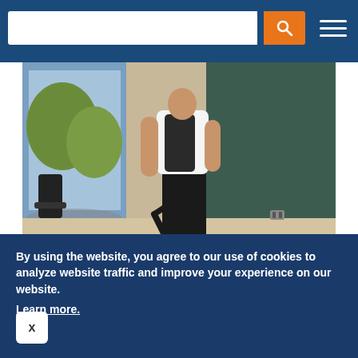Search bar with orange search button and hamburger menu
[Figure (photo): A person in black pants and white shirt vacuuming a floor in a modern office space with large windows and a green wall]
Spring Clean Your Money With a Better Checking Account
NerdWallet
By using the website, you agree to our use of cookies to analyze website traffic and improve your experience on our website. Learn more.